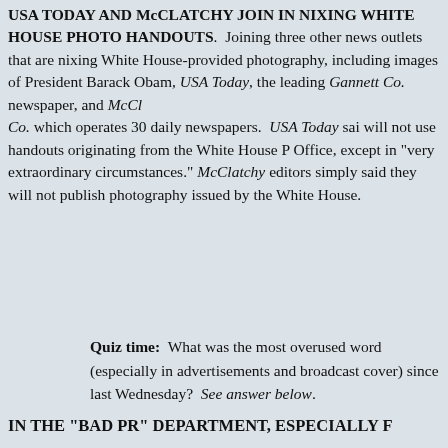USA TODAY AND MCCLATCHY JOIN IN NIXING WHITE HOUSE PHOTO HANDOUTS. Joining three other news outlets that are nixing White House-provided photography, including images of President Barack Obama, USA Today, the leading Gannett Co. newspaper, and McClatchy Co. which operates 30 daily newspapers. USA Today said will not use handouts originating from the White House Photo Office, except in "very extraordinary circumstances." McClatchy editors simply said they will not publish photography issued by the White House.
Quiz time: What was the most overused word (especially in advertisements and broadcast coverage) since last Wednesday? See answer below.
IN THE “BAD PR” DEPARTMENT, ESPECIALLY F